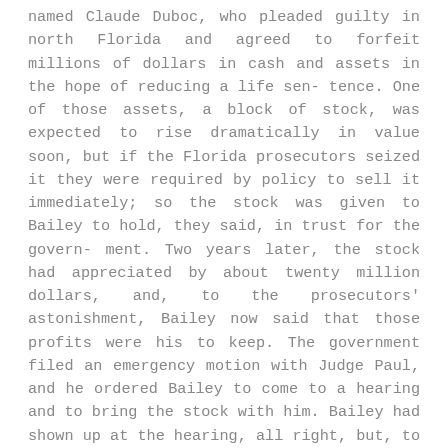named Claude Duboc, who pleaded guilty in north Florida and agreed to forfeit millions of dollars in cash and assets in the hope of reducing a life sentence. One of those assets, a block of stock, was expected to rise dramatically in value soon, but if the Florida prosecutors seized it they were required by policy to sell it immediately; so the stock was given to Bailey to hold, they said, in trust for the government. Two years later, the stock had appreciated by about twenty million dollars, and, to the prosecutors' astonishment, Bailey now said that those profits were his to keep. The government filed an emergency motion with Judge Paul, and he ordered Bailey to come to a hearing and to bring the stock with him. Bailey had shown up at the hearing, all right, but, to the further astonishment of the prosecutors, he had dared to come empty-handed.
    F. Lee Bailey is a former Marine fighter pilot with the visage of a bulldog and a personality to match,